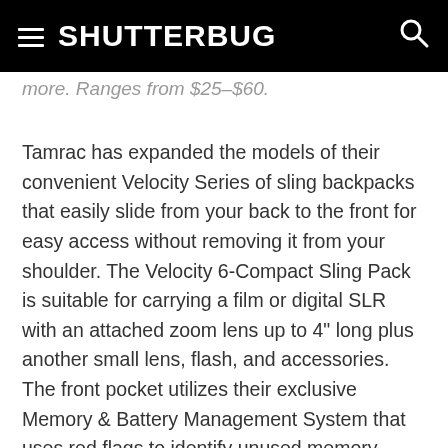SHUTTERBUG
more. Ranges from $25–$60.
Tamrac has expanded the models of their convenient Velocity Series of sling backpacks that easily slide from your back to the front for easy access without removing it from your shoulder. The Velocity 6-Compact Sling Pack is suitable for carrying a film or digital SLR with an attached zoom lens up to 4" long plus another small lens, flash, and accessories. The front pocket utilizes their exclusive Memory & Battery Management System that uses red flags to identify unused memory cards from ones that are used. A Speed Flap top, adjustable, foam-padded dividers, and an accessory pocket on the top round out the features. The Velocity 4-Micro